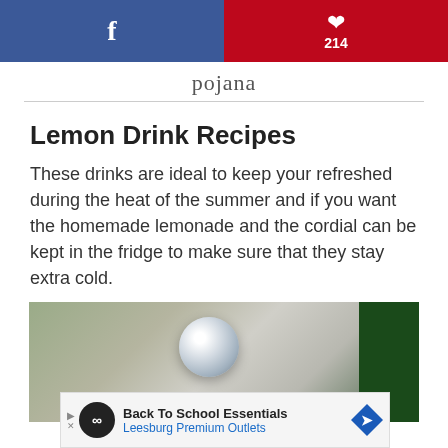[Figure (other): Social sharing bar with Facebook button (blue) on left and Pinterest button with count 214 (red) on right]
[Figure (logo): Cursive script logo text reading 'pojana' or similar handwritten brand name]
Lemon Drink Recipes
These drinks are ideal to keep your refreshed during the heat of the summer and if you want the homemade lemonade and the cordial can be kept in the fridge to make sure that they stay extra cold.
[Figure (photo): Photo of a glass jar with a round ball lid against a green background, outdoor setting]
[Figure (infographic): Advertisement banner: Back To School Essentials, Leesburg Premium Outlets]